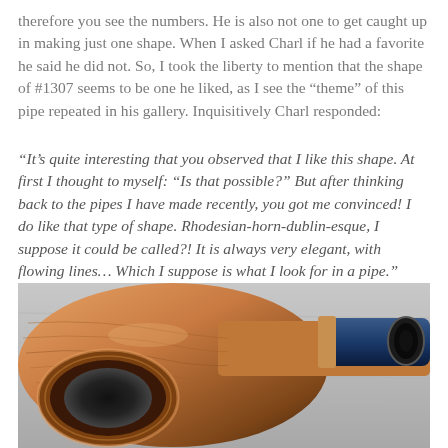therefore you see the numbers. He is also not one to get caught up in making just one shape. When I asked Charl if he had a favorite he said he did not. So, I took the liberty to mention that the shape of #1307 seems to be one he liked, as I see the “theme” of this pipe repeated in his gallery. Inquisitively Charl responded:
“It’s quite interesting that you observed that I like this shape. At first I thought to myself: “Is that possible?” But after thinking back to the pipes I have made recently, you got me convinced! I do like that type of shape. Rhodesian-horn-dublin-esque, I suppose it could be called?! It is always very elegant, with flowing lines… Which I suppose is what I look for in a pipe.”
[Figure (photo): Close-up photo of a wooden tobacco pipe showing the bowl opening and the mouthpiece end, with a blue/black stem, placed on a grey surface]